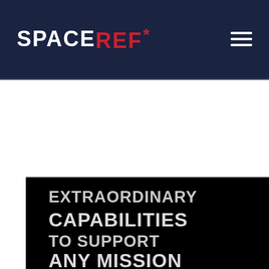SPACEREF*
[Figure (photo): Dark promotional image with bold white text reading EXTRAORDINARY CAPABILITIES TO SUPPORT ANY MISSION, with a satellite graphic at bottom on black background]